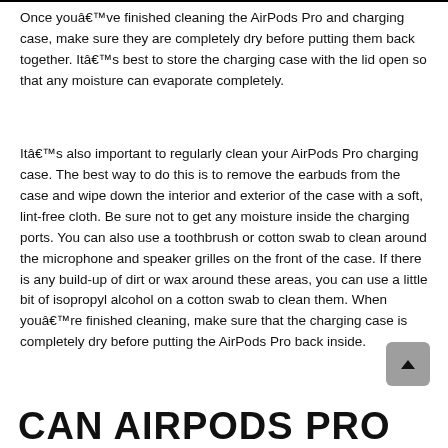Once youâve finished cleaning the AirPods Pro and charging case, make sure they are completely dry before putting them back together. Itâs best to store the charging case with the lid open so that any moisture can evaporate completely.
Itâs also important to regularly clean your AirPods Pro charging case. The best way to do this is to remove the earbuds from the case and wipe down the interior and exterior of the case with a soft, lint-free cloth. Be sure not to get any moisture inside the charging ports. You can also use a toothbrush or cotton swab to clean around the microphone and speaker grilles on the front of the case. If there is any build-up of dirt or wax around these areas, you can use a little bit of isopropyl alcohol on a cotton swab to clean them. When youâre finished cleaning, make sure that the charging case is completely dry before putting the AirPods Pro back inside.
CAN AIRPODS PRO